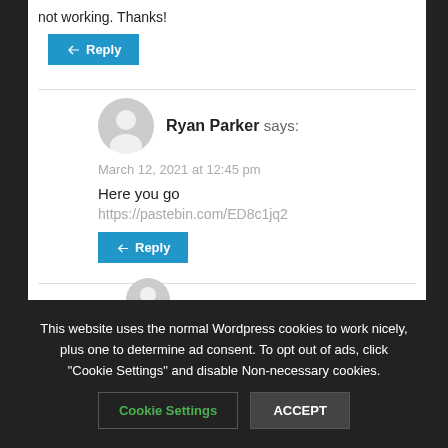not working. Thanks!
↩ Reply
Ryan Parker says:
March 12, 2021 at 12:45 pm
Here you go
https://pastebin.com/ED8c1jq2
↩ Reply
This website uses the normal Wordpress cookies to work nicely, plus one to determine ad consent. To opt out of ads, click "Cookie Settings" and disable Non-necessary cookies.
Cookie Settings
ACCEPT